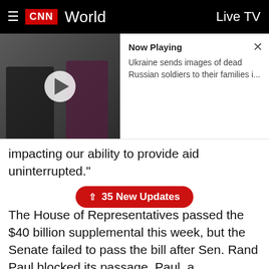CNN World | Live TV
[Figure (screenshot): CNN video player showing two people at a desk. Now Playing: Ukraine sends images of dead Russian soldiers to their families i...]
impacting our ability to provide aid uninterrupted."
[Figure (other): 35 New Updates button in red pill shape]
The House of Representatives passed the $40 billion supplemental this week, but the Senate failed to pass the bill after Sen. Rand Paul blocked its passage. Paul, a Republican from Kentucky, wanted more oversight of how the funds will be spent before agreeing to let the bill go to the Senate floor for a vote. Senate Majority Leader Chuck Schumer has started procedural steps to override Paul's objection, but the bill likely won't pass until next week at the earliest.
There is still "about $100 million dollars left in current"